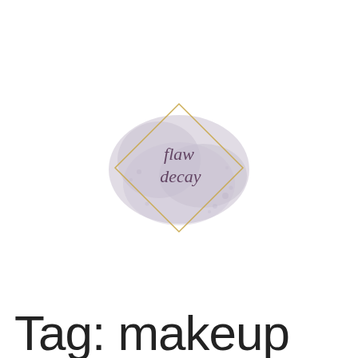[Figure (logo): Flaw Decay brand logo: a lavender/mauve watercolor paint splash with a gold diamond (rotated square) outline overlaid, and cursive script text reading 'flaw decay' in dark purple inside the diamond.]
Tag: makeup